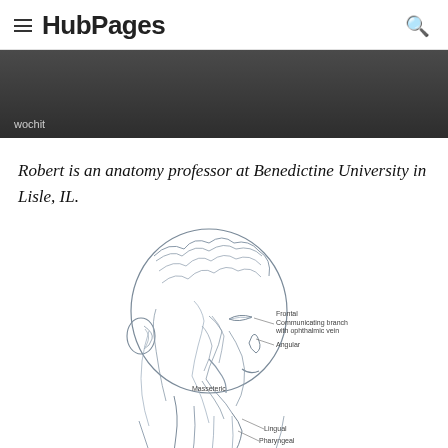HubPages
[Figure (screenshot): Dark gray video banner placeholder with 'wochit' label at bottom left]
Robert is an anatomy professor at Benedictine University in Lisle, IL.
[Figure (illustration): Detailed anatomical illustration of the human head showing muscles, nerves and blood vessels in a side view. Labels include: Frontal, Communicating branch with ophthalmic vein, Angular, Masseteric, Lingual, Pharyngeal, Superior thyroid]